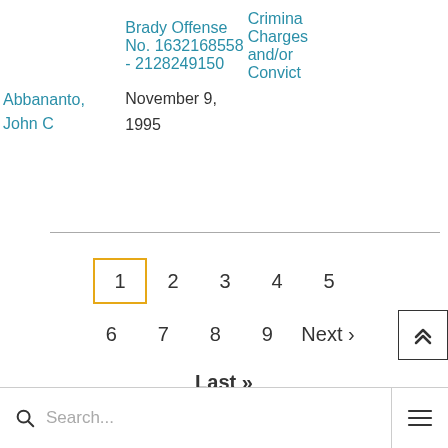|  | Brady Offense No. 1632168558 - 2128249150 | Criminal Charges and/or Convictions |
| --- | --- | --- |
| Abbananto, John C | November 9, 1995 |  |
1 2 3 4 5 6 7 8 9 Next › Last »